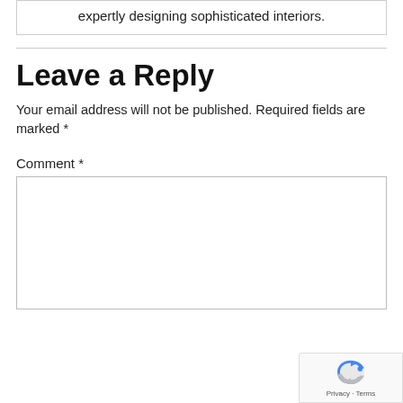expertly designing sophisticated interiors.
Leave a Reply
Your email address will not be published. Required fields are marked *
Comment *